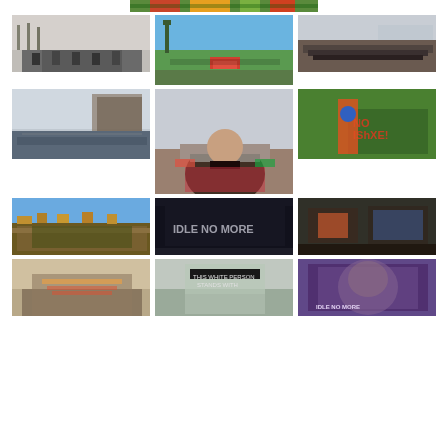[Figure (photo): Partial photo at top - colorful image (flowers/birds) cropped]
[Figure (photo): Black and white photo of people gathered outdoors near trees]
[Figure (photo): Color photo of people gathered near tree by waterfront with flowers on ground]
[Figure (photo): Color photo of people in a line near waterfront, overcast sky]
[Figure (photo): Color photo of crowd gathered outdoors near ornate structure with cloudy sky]
[Figure (photo): Color photo of woman in traditional dress with hat facing away, protesters behind]
[Figure (photo): Color photo of person in red jacket on green grass with text NO IDLE letters]
[Figure (photo): Color photo of large outdoor crowd under blue sky]
[Figure (photo): Dark photo with lit sign reading IDLE NO MORE]
[Figure (photo): Dark photo of outdoor scene with colorful structures]
[Figure (photo): Color photo of indoor gathering with crowd and signs]
[Figure (photo): Close-up of handwritten sign reading THIS WHITE PERSON STANDS WITH]
[Figure (photo): Purple-tinted photo of large IDLE NO MORE billboard with Indigenous face]